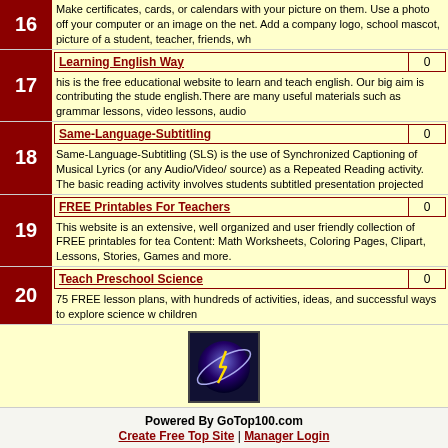16 - Make certificates, cards, or calendars with your picture on them. Use a photo off your computer or an image on the net. Add a company logo, school mascot, picture of a student, teacher, friends, wh
17 - Learning English Way | 0 - his is the free educational website to learn and teach english. Our big aim is contributing the stude english.There are many useful materials such as grammar lessons, video lessons, audio
18 - Same-Language-Subtitling | 0 - Same-Language-Subtitling (SLS) is the use of Synchronized Captioning of Musical Lyrics (or any Audio/Video/ source) as a Repeated Reading activity. The basic reading activity involves students subtitled presentation projected
19 - FREE Printables For Teachers | 0 - This website is an extensive, well organized and user friendly collection of FREE printables for tea Content: Math Worksheets, Coloring Pages, Clipart, Lessons, Stories, Games and more.
20 - Teach Preschool Science | 0 - 75 FREE lesson plans, with hundreds of activities, ideas, and successful ways to explore science w children
[Figure (logo): Globe/planet logo with lightning bolt]
Page: [1] 2 3 4 5
Last Update: Thu, Sep.01.22 2:25
Next Update: Thu, Sep.01.22 3:25
Next Reset: Mon, Sep.12.22 7:26
Sites: 177
Powered By GoTop100.com | Create Free Top Site | Manager Login